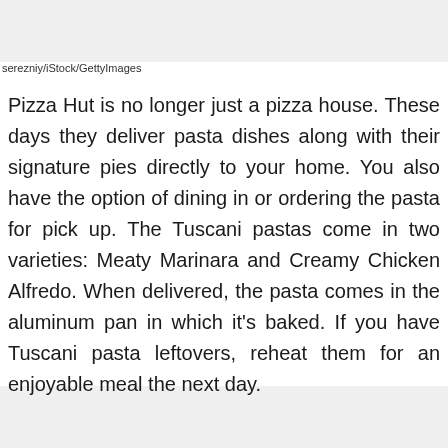serezniy/iStock/GettyImages
Pizza Hut is no longer just a pizza house. These days they deliver pasta dishes along with their signature pies directly to your home. You also have the option of dining in or ordering the pasta for pick up. The Tuscani pastas come in two varieties: Meaty Marinara and Creamy Chicken Alfredo. When delivered, the pasta comes in the aluminum pan in which it's baked. If you have Tuscani pasta leftovers, reheat them for an enjoyable meal the next day.